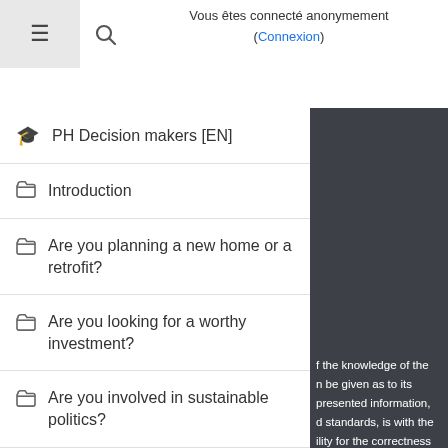Vous êtes connecté anonymement
(Connexion)
PH Decision makers [EN]
Introduction
Are you planning a new home or a retrofit?
Are you looking for a worthy investment?
Are you involved in sustainable politics?
Content
Accueil
f the knowledge of the n be given as to its presented information, d standards, is with the ility for the correctness liability for possible